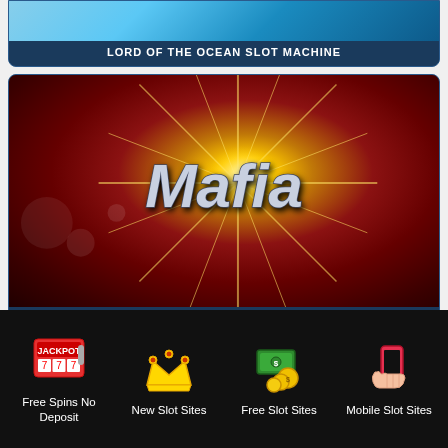[Figure (screenshot): Top card showing Lord of the Ocean slot machine with blue ocean background, partially visible at top]
LORD OF THE OCEAN SLOT MACHINE
[Figure (screenshot): Mafia slot machine game card with red background, starburst effect, and metallic Mafia text logo]
MAFIA SLOT MACHINE
[Figure (screenshot): Third card partially visible at bottom with blue gradient header]
[Figure (infographic): Footer navigation with four icons: jackpot slot machine icon, crown icon, money/coins icon, mobile phone icon]
Free Spins No Deposit
New Slot Sites
Free Slot Sites
Mobile Slot Sites